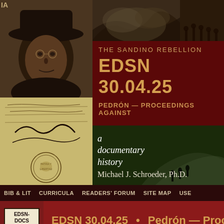[Figure (illustration): Portrait illustration of a man wearing a wide-brimmed hat, sepia/grayscale engraving style]
[Figure (photo): Historical document with handwritten text and a 'Patria y Libertad' seal/stamp]
[Figure (photo): Smoke or fire scene, black and white historical photograph]
[Figure (photo): Soldiers or fighters walking in a line, black and white historical photograph]
THE SANDINO REBELLION
EDSN 30.04.25
PEDRÓN — PROCEEDINGS AGAINST
a documentary history
Michael J. Schroeder, Ph.D.
BIB & LIT   CURRICULA   READERS' FORUM   SITE MAP   USE
EDSN-DOCS 1930
EDSN 30.04.25  •  Pedrón — Proceedin